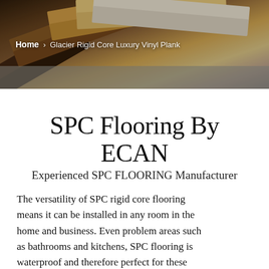[Figure (photo): Overhead fan-spread view of SPC/vinyl plank flooring samples in various wood tones — dark walnut, medium brown, light oak, white/grey — spread in a fan pattern on a grey surface.]
Home > Glacier Rigid Core Luxury Vinyl Plank
SPC Flooring By ECAN
Experienced SPC FLOORING Manufacturer
The versatility of SPC rigid core flooring means it can be installed in any room in the home and business. Even problem areas such as bathrooms and kitchens, SPC flooring is waterproof and therefore perfect for these installations. With the ultra stable core, it is also ideal for open plan living spaces, as it can be laid in large areas